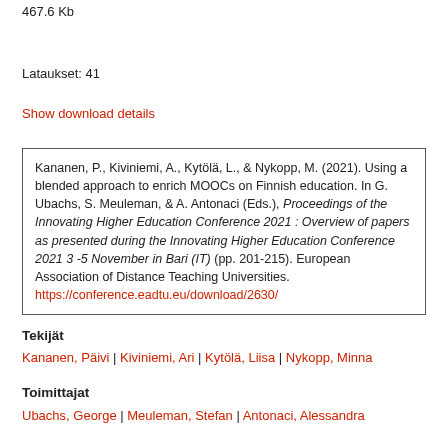467.6 Kb
Lataukset: 41
Show download details
Kananen, P., Kiviniemi, A., Kytölä, L., & Nykopp, M. (2021). Using a blended approach to enrich MOOCs on Finnish education. In G. Ubachs, S. Meuleman, & A. Antonaci (Eds.), Proceedings of the Innovating Higher Education Conference 2021 : Overview of papers as presented during the Innovating Higher Education Conference 2021 3 -5 November in Bari (IT) (pp. 201-215). European Association of Distance Teaching Universities. https://conference.eadtu.eu/download/2630/
Tekijät
Kananen, Päivi | Kiviniemi, Ari | Kytölä, Liisa | Nykopp, Minna
Toimittajat
Ubachs, George | Meuleman, Stefan | Antonaci, Alessandra